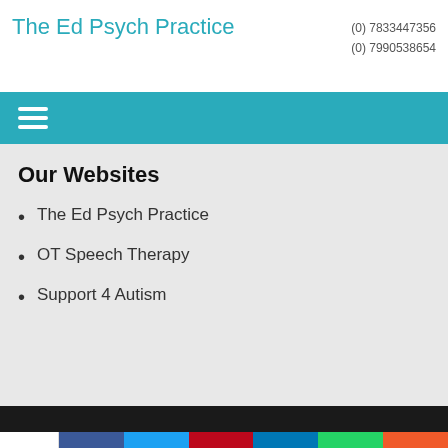The Ed Psych Practice
(0) 7833447356
(0) 7990538654
[Figure (other): Teal navigation bar with hamburger menu icon (three white horizontal lines)]
Our Websites
The Ed Psych Practice
OT Speech Therapy
Support 4 Autism
0 SHARES | Facebook | Twitter | Pinterest | LinkedIn | WhatsApp | More